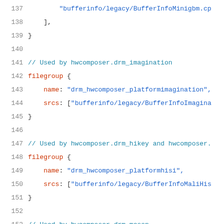[Figure (screenshot): Source code listing showing lines 137-157 of a build file (Android.bp or similar), defining filegroup blocks for hwcomposer.drm_imagination, hwcomposer.drm_hikey, and hwcomposer.drm_meson. Line numbers shown on the left in gray, keywords in dark red, string values in blue, comments in teal.]